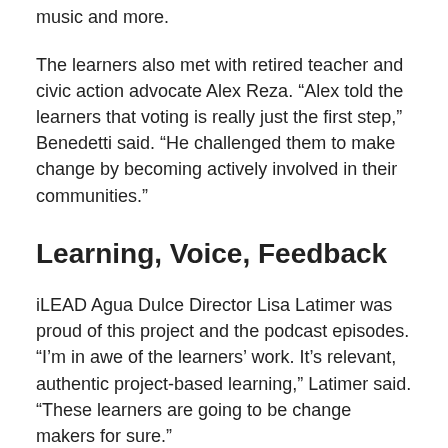music and more.
The learners also met with retired teacher and civic action advocate Alex Reza. “Alex told the learners that voting is really just the first step,” Benedetti said. “He challenged them to make change by becoming actively involved in their communities.”
Learning, Voice, Feedback
iLEAD Agua Dulce Director Lisa Latimer was proud of this project and the podcast episodes. “I’m in awe of the learners’ work. It’s relevant, authentic project-based learning,” Latimer said. “These learners are going to be change makers for sure.”
The learners, too, were positive about the experience and skills they gained.